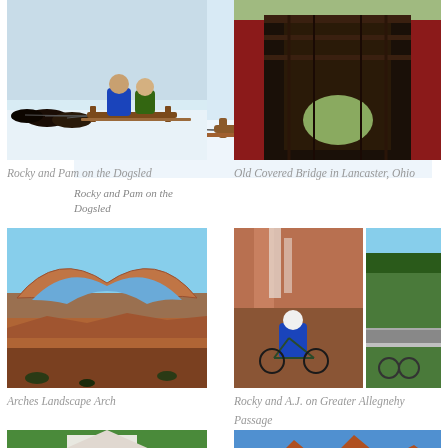[Figure (photo): Rocky and Pam on a dogsled in snowy conditions with sled dogs]
Rocky and Pam on the Dogsled
[Figure (photo): Interior view of an old covered bridge in Lancaster, Ohio]
Old Covered Bridge in Lancaster, Ohio
[Figure (photo): Arches Landscape Arch - a large natural sandstone arch in Arches National Park]
Arches Landscape Arch
[Figure (photo): Rocky and A.J. with bicycles on the Greater Allegheny Passage trail, near a waterfall and forested hillside]
Rocky and A.J. on Greater Allegnehy Passage
[Figure (photo): Garden scene with white gazebo and lush green foliage, people in background]
[Figure (photo): Red rock butte formation against blue sky]